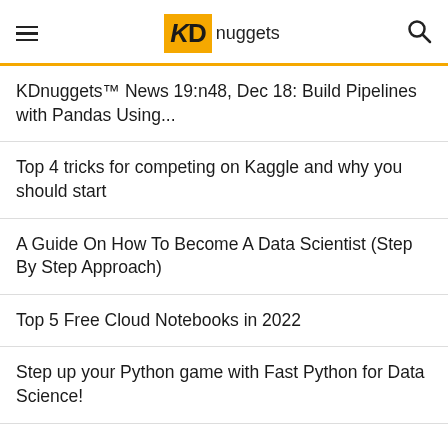KDnuggets
KDnuggets™ News 19:n48, Dec 18: Build Pipelines with Pandas Using...
Top 4 tricks for competing on Kaggle and why you should start
A Guide On How To Become A Data Scientist (Step By Step Approach)
Top 5 Free Cloud Notebooks in 2022
Step up your Python game with Fast Python for Data Science!